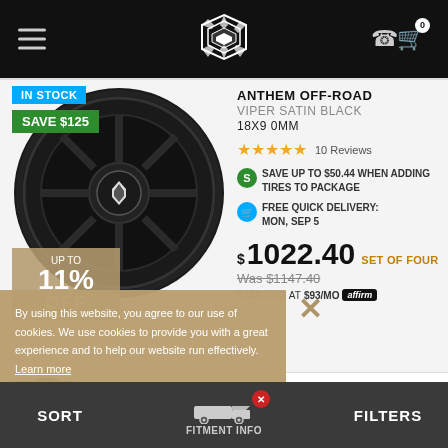Anthem Off-Road wheels store header with hamburger menu, logo, phone and cart icons
[Figure (photo): Anthem Off-Road Viper Satin Black wheel, 18x9 0MM, shown straight on black background]
IN STOCK
SAVE $125
ANTHEM OFF-ROAD
VIPER SATIN BLACK
18X9 0MM
★★★★★  10 Reviews
SAVE UP TO $50.44 WHEN ADDING TIRES TO PACKAGE
FREE QUICK DELIVERY: MON, SEP 5
$1022.40 SET OF FOUR
Was $1147.40
STARTING AT $93/MO affirm
UP TO 11% OFF
By using this website, you agree to our use of cookies. We use cookies to provide you with a great experience and to help our website run effectively. Learn more
SAVE $75
ANTHEM OFF-ROAD
VIPER GLOSS BLACK
17X8.5 0MM
SORT   FITMENT INFO   FILTERS